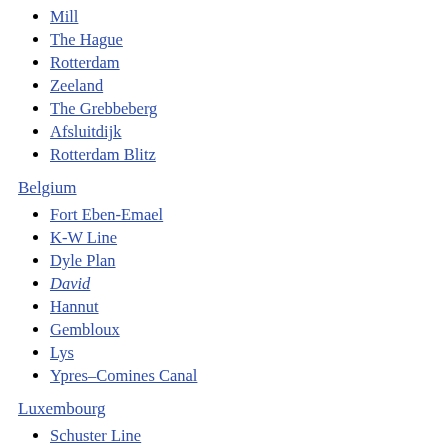Mill
The Hague
Rotterdam
Zeeland
The Grebbeberg
Afsluitdijk
Rotterdam Blitz
Belgium
Fort Eben-Emael
K-W Line
Dyle Plan
David
Hannut
Gembloux
Lys
Ypres–Comines Canal
Luxembourg
Schuster Line
The Battle of France (French: bataille de France) (10 May – 25 June 1940), also known as the Western Campaign (Westfeldzug),